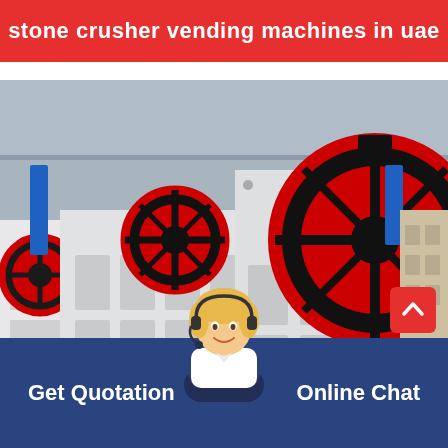stone crusher vending machines in uae
[Figure (photo): Industrial stone crusher jaw crusher machines in a factory setting, showing large white metal frames with distinctive red and black flywheels/pulleys, multiple units visible in a warehouse/manufacturing plant]
Get Quotation
Online Chat